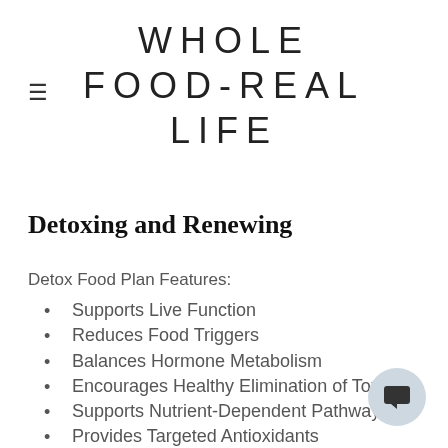WHOLE FOOD-REAL LIFE
Detoxing and Renewing
Detox Food Plan Features:
Supports Live Function
Reduces Food Triggers
Balances Hormone Metabolism
Encourages Healthy Elimination of Toxins
Supports Nutrient-Dependent Pathways
Provides Targeted Antioxidants